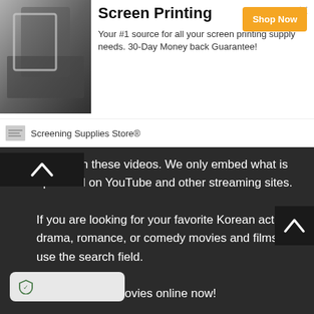[Figure (screenshot): Screen printing advertisement banner with photo of person screen printing, title 'Screen Printing', description text, Shop Now button, and Screening Supplies Store badge.]
o not own these videos. We only embed what is uploaded on YouTube and other streaming sites.

If you are looking for your favorite Korean action, drama, romance, or comedy movies and films, just use the search field.

Watch Korean movies online now!